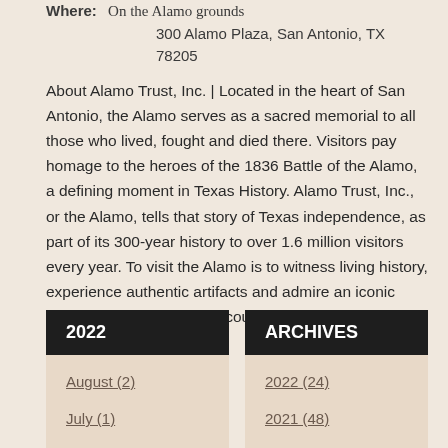Where: On the Alamo grounds
300 Alamo Plaza, San Antonio, TX 78205
About Alamo Trust, Inc. | Located in the heart of San Antonio, the Alamo serves as a sacred memorial to all those who lived, fought and died there. Visitors pay homage to the heroes of the 1836 Battle of the Alamo, a defining moment in Texas History. Alamo Trust, Inc., or the Alamo, tells that story of Texas independence, as part of its 300-year history to over 1.6 million visitors every year. To visit the Alamo is to witness living history, experience authentic artifacts and admire an iconic landmark that shaped the country. Visit thealamo.org.
2022
ARCHIVES
August (2)
July (1)
June (4)
May (3)
April (3)
2022 (24)
2021 (48)
2020 (29)
2019 (3)